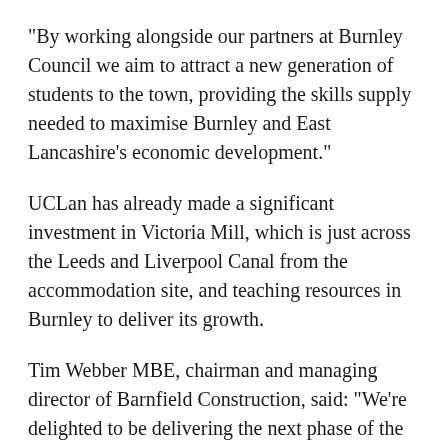“By working alongside our partners at Burnley Council we aim to attract a new generation of students to the town, providing the skills supply needed to maximise Burnley and East Lancashire’s economic development.”
UCLan has already made a significant investment in Victoria Mill, which is just across the Leeds and Liverpool Canal from the accommodation site, and teaching resources in Burnley to deliver its growth.
Tim Webber MBE, chairman and managing director of Barnfield Construction, said: “We’re delighted to be delivering the next phase of the iconic On The Banks development in partnership with Burnley Council and UCLan.
“The new project will make a perfect addition to the